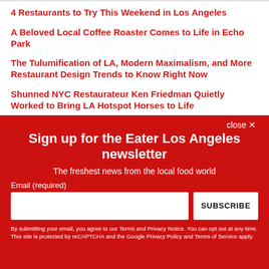4 Restaurants to Try This Weekend in Los Angeles
A Beloved Local Coffee Roaster Comes to Life in Echo Park
The Tulumification of LA, Modern Maximalism, and More Restaurant Design Trends to Know Right Now
Shunned NYC Restaurateur Ken Friedman Quietly Worked to Bring LA Hotspot Horses to Life
Sign up for the Eater Los Angeles newsletter
The freshest news from the local food world
Email (required)
SUBSCRIBE
By submitting your email, you agree to our Terms and Privacy Notice. You can opt out at any time. This site is protected by reCAPTCHA and the Google Privacy Policy and Terms of Service apply.